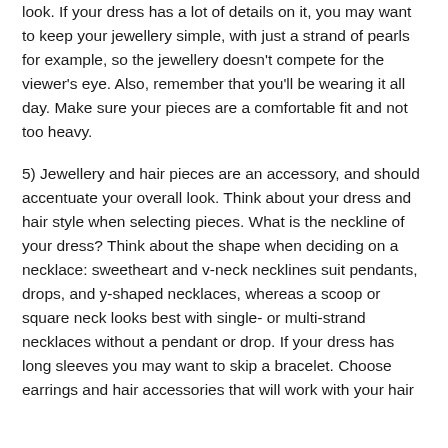look. If your dress has a lot of details on it, you may want to keep your jewellery simple, with just a strand of pearls for example, so the jewellery doesn't compete for the viewer's eye. Also, remember that you'll be wearing it all day. Make sure your pieces are a comfortable fit and not too heavy.
5) Jewellery and hair pieces are an accessory, and should accentuate your overall look. Think about your dress and hair style when selecting pieces. What is the neckline of your dress? Think about the shape when deciding on a necklace: sweetheart and v-neck necklines suit pendants, drops, and y-shaped necklaces, whereas a scoop or square neck looks best with single- or multi-strand necklaces without a pendant or drop. If your dress has long sleeves you may want to skip a bracelet. Choose earrings and hair accessories that will work with your hair